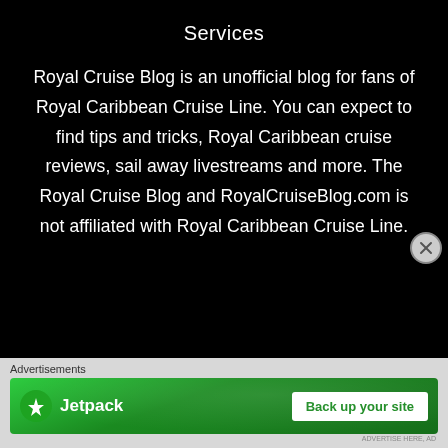Services
Royal Cruise Blog is an unofficial blog for fans of Royal Caribbean Cruise Line. You can expect to find tips and tricks, Royal Caribbean cruise reviews, sail away livestreams and more. The Royal Cruise Blog and RoyalCruiseBlog.com is not affiliated with Royal Caribbean Cruise Line.
Advertisements
[Figure (infographic): Jetpack advertisement banner with green background showing Jetpack logo and 'Back up your site' button]